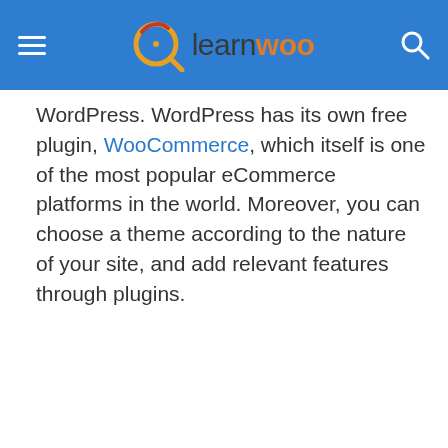learnwoo
WordPress. WordPress has its own free plugin, WooCommerce, which itself is one of the most popular eCommerce platforms in the world. Moreover, you can choose a theme according to the nature of your site, and add relevant features through plugins.